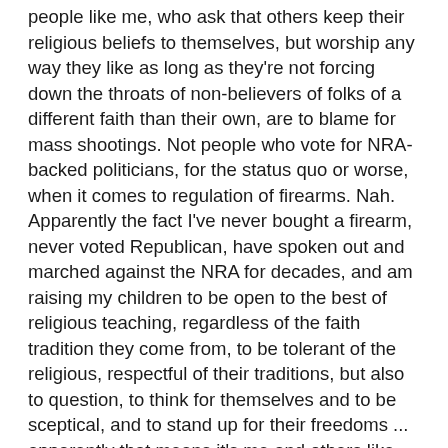people like me, who ask that others keep their religious beliefs to themselves, but worship any way they like as long as they're not forcing down the throats of non-believers of folks of a different faith than their own, are to blame for mass shootings. Not people who vote for NRA-backed politicians, for the status quo or worse, when it comes to regulation of firearms. Nah. Apparently the fact I've never bought a firearm, never voted Republican, have spoken out and marched against the NRA for decades, and am raising my children to be open to the best of religious teaching, regardless of the faith tradition they come from, to be tolerant of the religious, respectful of their traditions, but also to question, to think for themselves and to be sceptical, and to stand up for their freedoms ... apparently that means it's me and others like me who are the problem.
The hypocrisy, the arrogance, and the ignorance of people who blithely share victim-blaming platitudes (because the kids clearly didn't pray enough either) makes me tremble with rage. I don't expect to be applauded for not punching that asshole in the face, nor for continuing to be polite to him when our paths cross, but it would not be wise to not take my